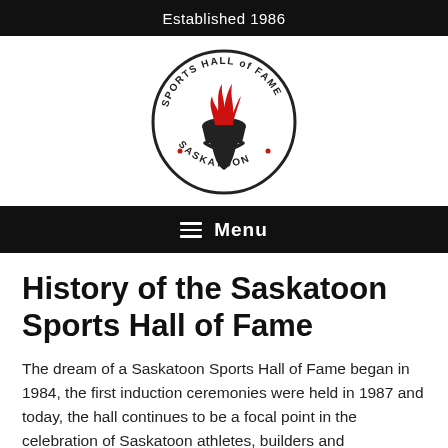Established 1986
[Figure (logo): Saskatoon Sports Hall of Fame circular logo with torch and red flames]
Menu
History of the Saskatoon Sports Hall of Fame
The dream of a Saskatoon Sports Hall of Fame began in 1984, the first induction ceremonies were held in 1987 and today, the hall continues to be a focal point in the celebration of Saskatoon athletes, builders and